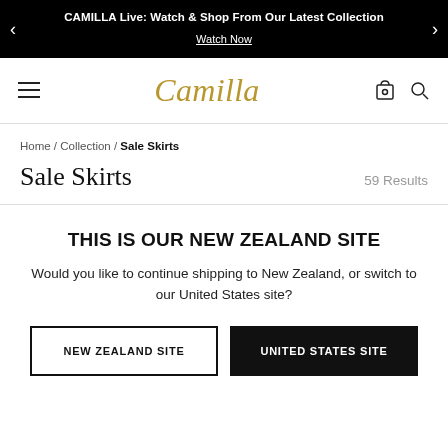CAMILLA Live: Watch & Shop From Our Latest Collection
Watch Now
[Figure (logo): Camilla script logo in gold/tan color, with hamburger menu icon on left and bag/search icons on right]
Home / Collection / Sale Skirts
Sale Skirts
59 Results
THIS IS OUR NEW ZEALAND SITE
Would you like to continue shipping to New Zealand, or switch to our United States site?
NEW ZEALAND SITE
UNITED STATES SITE